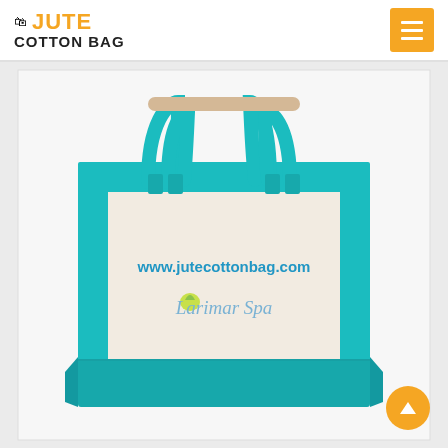JUTE COTTON BAG
[Figure (photo): A teal/turquoise and natural canvas jute cotton tote bag with teal handles, featuring 'www.jutecottonbag.com' and 'Larimar Spa' printed on the front panel, shown on a light gray background.]